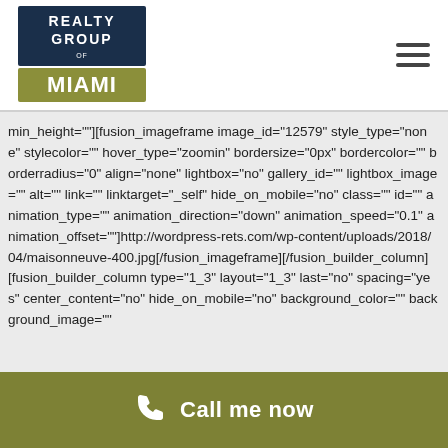[Figure (logo): Realty Group of Miami logo — dark navy rectangle with white text REALTY GROUP and golden M MIAMI wordmark below]
min_height=""][fusion_imageframe image_id="12579" style_type="none" stylecolor="" hover_type="zoomin" bordersize="0px" bordercolor="" borderradius="0" align="none" lightbox="no" gallery_id="" lightbox_image="" alt="" link="" linktarget="_self" hide_on_mobile="no" class="" id="" animation_type="" animation_direction="down" animation_speed="0.1" animation_offset=""]http://wordpress-rets.com/wp-content/uploads/2018/04/maisonneuve-400.jpg[/fusion_imageframe][/fusion_builder_column][fusion_builder_column type="1_3" layout="1_3" last="no" spacing="yes" center_content="no" hide_on_mobile="no" background_color="" background_image=""
Call me now